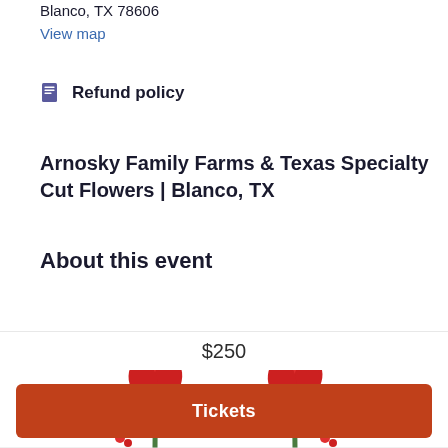Blanco, TX 78606
View map
Refund policy
Arnosky Family Farms & Texas Specialty Cut Flowers | Blanco, TX
About this event
[Figure (illustration): Decorative illustration of red tulip flowers with green stems and teal vine/leaf divider in the center]
$250
Tickets